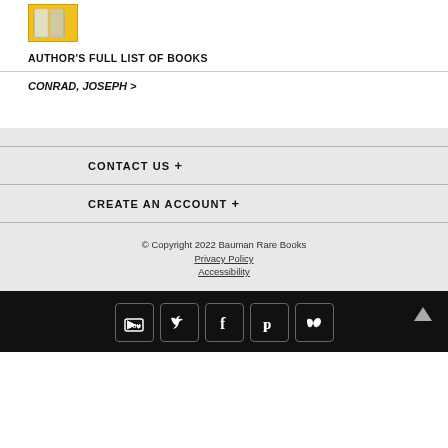[Figure (photo): Small thumbnail image of a book with yellow/gold cover]
AUTHOR'S FULL LIST OF BOOKS
CONRAD, JOSEPH >
CONTACT US +
CREATE AN ACCOUNT +
© Copyright 2022 Bauman Rare Books
Privacy Policy
Accessibility
[Figure (other): Social media icons row: YouTube, Twitter, Facebook, Pinterest, Vimeo — white icons in rounded square borders on black background. Also a back-to-top arrow on the right.]